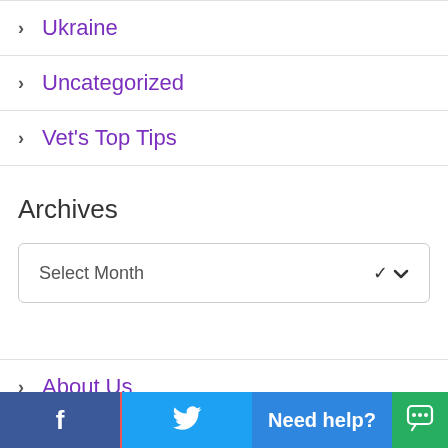> Ukraine
> Uncategorized
> Vet's Top Tips
Archives
Select Month
> About Us
> Available House-Sitters
f  [Twitter]  Need help?  [Chat]